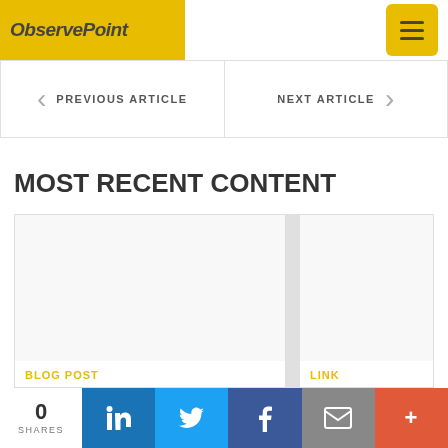ObservePoint
PREVIOUS ARTICLE
NEXT ARTICLE
MOST RECENT CONTENT
BLOG POST
LINK
0 SHARES